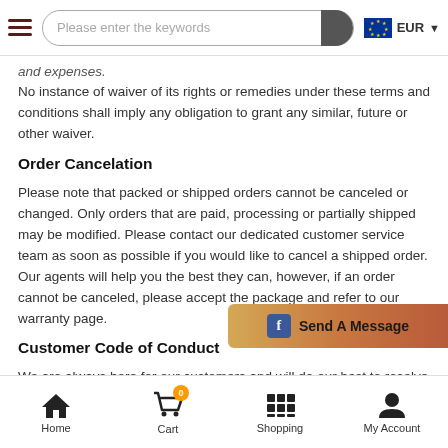Please enter the keywords
and expenses.
No instance of waiver of its rights or remedies under these terms and conditions shall imply any obligation to grant any similar, future or other waiver.
Order Cancelation
Please note that packed or shipped orders cannot be canceled or changed. Only orders that are paid, processing or partially shipped may be modified. Please contact our dedicated customer service team as soon as possible if you would like to cancel a shipped order. Our agents will help you the best they can, however, if an order cannot be canceled, please accept the package and refer to our warranty page.
Customer Code of Conduct
We are always here for our customers and will do our best to resolve all issues to customer's satisfaction in a polite, professional and amicable way. Thus, we will not tolerate any unacceptable or unreasonable behavior towards our Customer Service Team members.
Unacceptable behavior directed towards Customer Service, for example, include but not be limited to any of the f…
Home Cart Shopping My Account